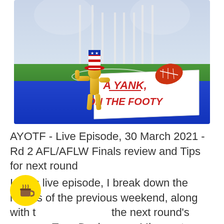[Figure (illustration): Podcast cover art for 'A Yank on the Footy'. Features a gold stick figure character wearing a red, white and blue Uncle Sam hat giving a thumbs up, standing on an Australian rules football field with goal posts in the background. A large red Australian football is visible. The character holds a white sign reading 'A YANK, ON THE FOOTY' in bold red capital letters. The lower portion of the image has a bright blue background.]
AYOTF - Live Episode, 30 March 2021 - Rd 2 AFL/AFLW Finals review and Tips for next round
In this live episode, I break down the results of the previous weekend, along with tips for the next round's games.  Tony Davis of the Minnesota Freeze stops by for ...